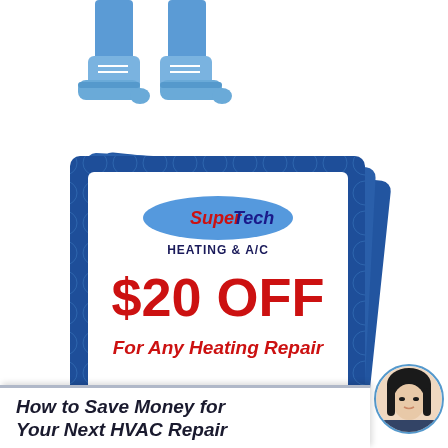[Figure (illustration): Cartoon legs wearing blue work boots, bottom half of a technician character]
[Figure (infographic): Stack of three coupon cards with dark blue patterned background. Front card shows SuperTech Heating & A/C logo in blue oval with red and blue text, large red bold text '$20 OFF', and red bold italic text 'For Any Heating Repair']
[Figure (photo): Round avatar photo of a young Asian woman with black hair, framed in a blue circle]
How to Save Money for Your Next HVAC Repair